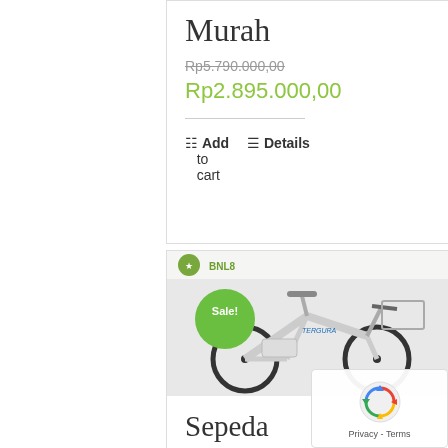Murah
Rp5.790.000,00
Rp2.895.000,00
Add to cart
Details
[Figure (photo): White electric bicycle with a front basket, showing a Sale! badge in green circle, brand name visible on frame]
Sepeda Listrik China
[Figure (logo): Google reCAPTCHA badge with spinning logo and Privacy - Terms text]